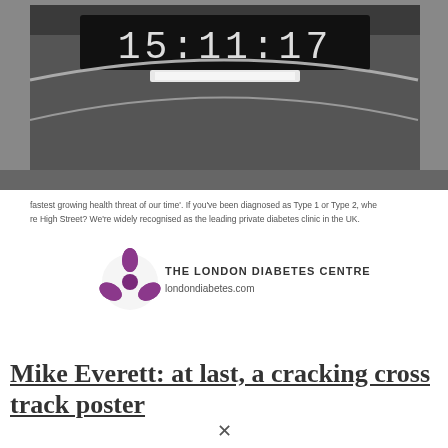[Figure (screenshot): A cropped advertisement screenshot showing a London Underground station clock displaying 15:11:17, and below it text about diabetes health threat with The London Diabetes Centre logo (purple flower logo) and website londondiabetes.com]
Mike Everett: at last, a cracking cross track poster